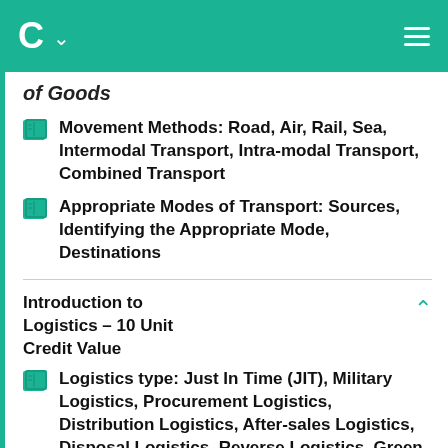C [logo] [chevron] [menu]
of Goods
Movement Methods: Road, Air, Rail, Sea, Intermodal Transport, Intra-modal Transport, Combined Transport
Appropriate Modes of Transport: Sources, Identifying the Appropriate Mode, Destinations
Introduction to Logistics – 10 Unit Credit Value
Logistics type: Just In Time (JIT), Military Logistics, Procurement Logistics, Distribution Logistics, After-sales Logistics, Disposal Logistics, Reverse Logistics, Green Logistics, Global Logistics, RAM logistics, Asset Control Logistics, POS Material Logistics, Emergency